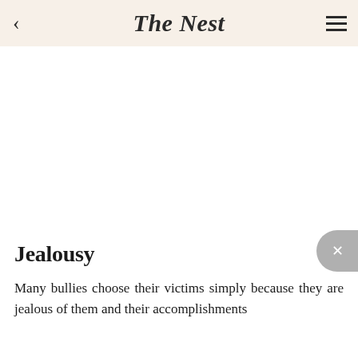The Nest
Jealousy
Many bullies choose their victims simply because they are jealous of them and their accomplishments